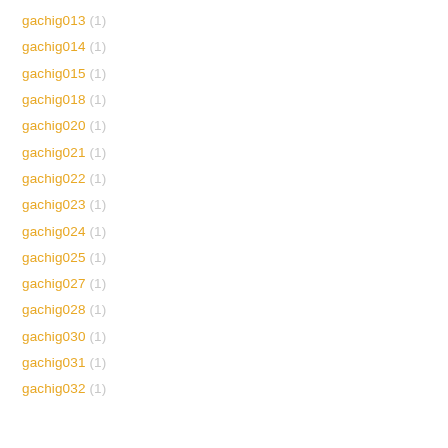gachig013 (1)
gachig014 (1)
gachig015 (1)
gachig018 (1)
gachig020 (1)
gachig021 (1)
gachig022 (1)
gachig023 (1)
gachig024 (1)
gachig025 (1)
gachig027 (1)
gachig028 (1)
gachig030 (1)
gachig031 (1)
gachig032 (1)